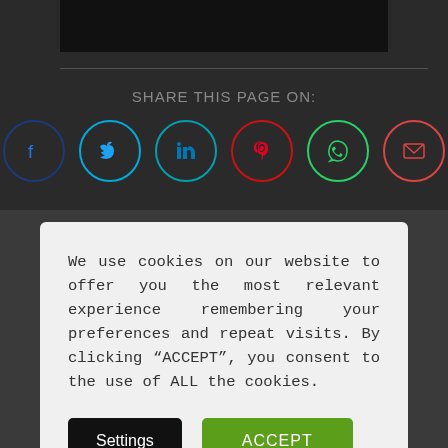[Figure (screenshot): Dark image area at top of page]
SHARE THIS PAGE ON:
[Figure (infographic): Row of six social sharing icon buttons: Facebook (dark blue circle border, blue icon), Twitter (cyan circle border, blue bird icon), LinkedIn (teal circle border, blue icon), Pinterest (red circle border, red icon), WhatsApp (green circle border, green icon), Email (red-orange circle border, red envelope icon)]
We use cookies on our website to offer you the most relevant experience remembering your preferences and repeat visits. By clicking “ACCEPT”, you consent to the use of ALL the cookies.
Settings
ACCEPT